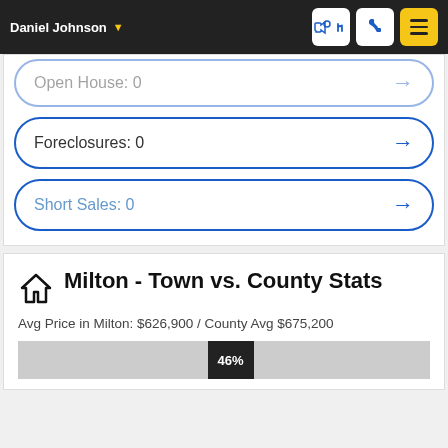Daniel Johnson
Open House: 0
Foreclosures: 0
Short Sales: 0
Milton - Town vs. County Stats
Avg Price in Milton: $626,900 / County Avg $675,200
[Figure (bar-chart): Horizontal bar showing 46% Milton share]